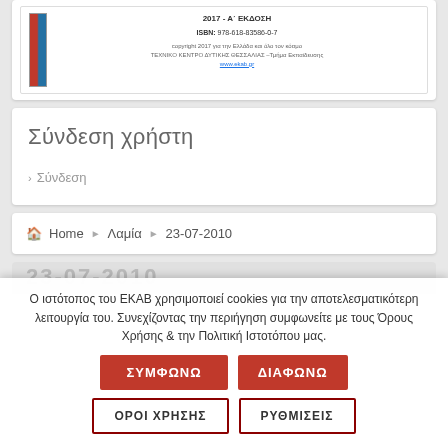[Figure (illustration): Book cover thumbnail with red and blue spine; edition text: 2017 – Α΄ ΕΚΔΟΣΗ, ISBN: 978-618-83586-0-7, copyright 2017, www.ekab.gr link]
Σύνδεση χρήστη
› Σύνδεση
🏠 Home › Λαμία › 23-07-2010
Ο ιστότοπος του ΕΚΑΒ χρησιμοποιεί cookies για την αποτελεσματικότερη λειτουργία του. Συνεχίζοντας την περιήγηση συμφωνείτε με τους Όρους Χρήσης & την Πολιτική Ιστοτόπου μας.
ΣΥΜΦΩΝΩ
ΔΙΑΦΩΝΩ
ΟΡΟΙ ΧΡΗΣΗΣ
ΡΥΘΜΙΣΕΙΣ